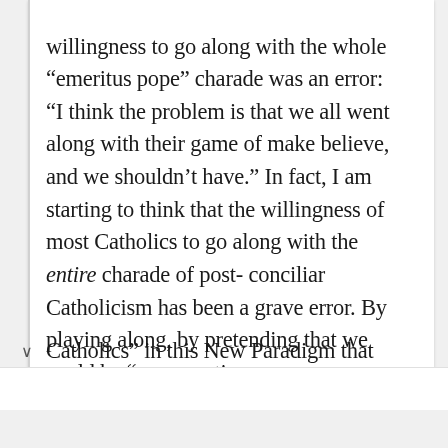willingness to go along with the whole “emeritus pope” charade was an error: “I think the problem is that we all went along with their game of make believe, and we shouldn’t have.” In fact, I am starting to think that the willingness of most Catholics to go along with the entire charade of post-conciliar Catholicism has been a grave error. By playing along, by pretending that we could be “conservative Catholics” in this New Paradigm that